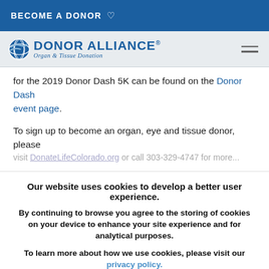BECOME A DONOR ♡
[Figure (logo): Donor Alliance logo with globe icon and text 'DONOR ALLIANCE® Organ & Tissue Donation']
for the 2019 Donor Dash 5K can be found on the Donor Dash event page.
To sign up to become an organ, eye and tissue donor, please visit DonateLifeColorado.org or call 303-329-4747 for more...
Our website uses cookies to develop a better user experience.
By continuing to browse you agree to the storing of cookies on your device to enhance your site experience and for analytical purposes.
To learn more about how we use cookies, please visit our privacy policy.
Close    Read More